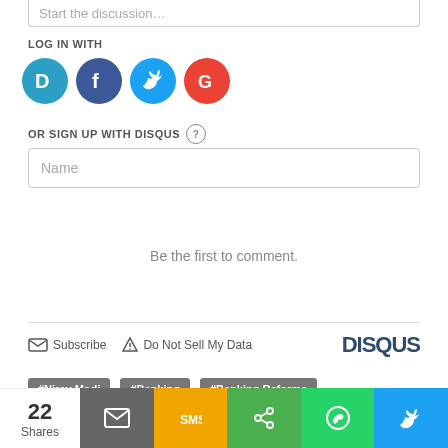Start the discussion…
LOG IN WITH
[Figure (logo): Social login icons: Disqus (blue D), Facebook (dark blue f), Twitter (light blue bird), Google (red G)]
OR SIGN UP WITH DISQUS
Name
Be the first to comment.
Subscribe   Do Not Sell My Data   DISQUS
#Nirav Modi   #Banking   #Banking Reforms
22 Shares